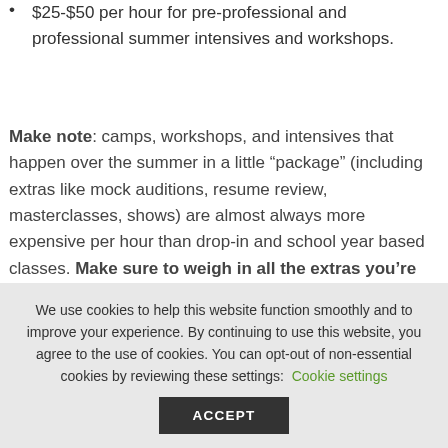$25-$50 per hour for pre-professional and professional summer intensives and workshops.
Make note: camps, workshops, and intensives that happen over the summer in a little “package” (including extras like mock auditions, resume review, masterclasses, shows) are almost always more expensive per hour than drop-in and school year based classes. Make sure to weigh in all the extras you’re getting, and what you think they’re
We use cookies to help this website function smoothly and to improve your experience. By continuing to use this website, you agree to the use of cookies. You can opt-out of non-essential cookies by reviewing these settings: Cookie settings ACCEPT